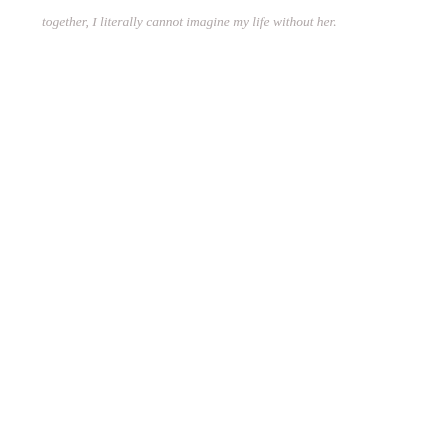together, I literally cannot imagine my life without her.